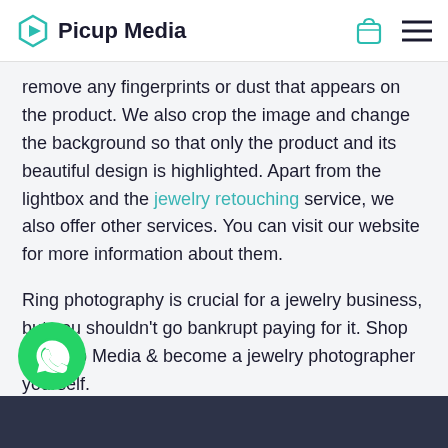Picup Media
remove any fingerprints or dust that appears on the product. We also crop the image and change the background so that only the product and its beautiful design is highlighted. Apart from the lightbox and the jewelry retouching service, we also offer other services. You can visit our website for more information about them.
Ring photography is crucial for a jewelry business, but you shouldn't go bankrupt paying for it. Shop at Picup Media & become a jewelry photographer yourself.
[Figure (logo): WhatsApp floating contact button - green circle with white WhatsApp logo]